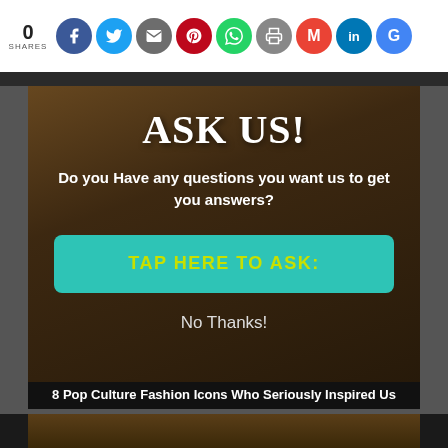0 SHARES
[Figure (screenshot): Social media share bar with icons for Facebook, Twitter, Email, Pinterest, WhatsApp, Print, Gmail, LinkedIn, Google]
ASK US!
Do you Have any questions you want us to get you answers?
TAP HERE TO ASK:
No Thanks!
8 Pop Culture Fashion Icons Who Seriously Inspired Us
[Figure (photo): Bottom image strip showing a partial photo]